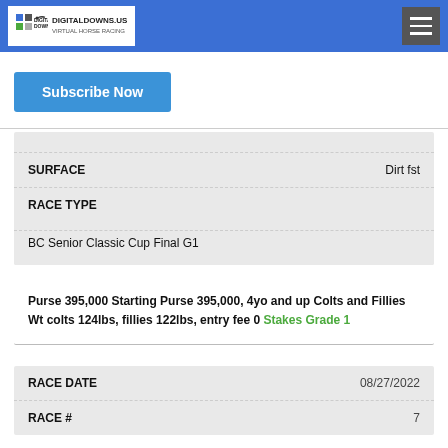DigitalDowns.us Virtual Horse Racing
Subscribe Now
| SURFACE |  |
| --- | --- |
| SURFACE | Dirt fst |
| RACE TYPE |  |
| --- | --- |
| BC Senior Classic Cup Final G1 |  |
Purse 395,000 Starting Purse 395,000, 4yo and up Colts and Fillies Wt colts 124lbs, fillies 122lbs, entry fee 0 Stakes Grade 1
| RACE DATE | RACE # |
| --- | --- |
| 08/27/2022 | 7 |